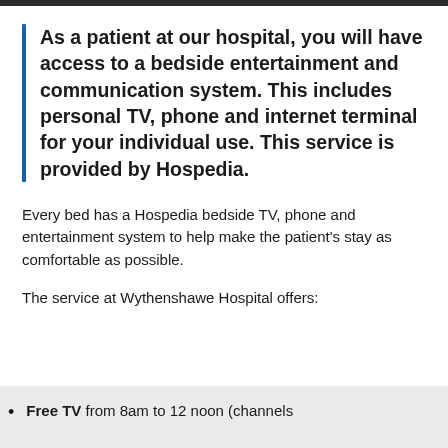As a patient at our hospital, you will have access to a bedside entertainment and communication system. This includes personal TV, phone and internet terminal for your individual use. This service is provided by Hospedia.
Every bed has a Hospedia bedside TV, phone and entertainment system to help make the patient's stay as comfortable as possible.
The service at Wythenshawe Hospital offers:
Free TV from 8am to 12 noon (channels